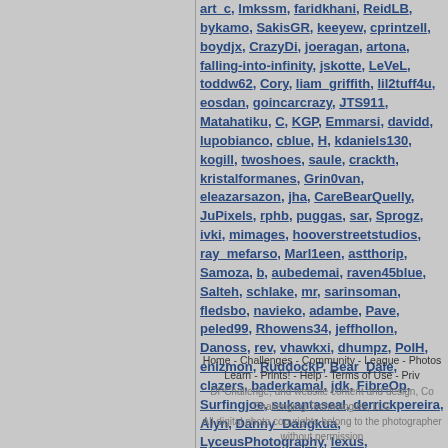art_c, lmkssm, faridkhani, ReidLB, bykamo, SakisGR, keeyew, cprintzell, boydjx, CrazyDi, joeragan, artona, falling-into-infinity, jskotte, LeVeL, toddw62, Cory, liam_griffith, lil2tuff4u, eosdan, goincarcrazy, JTS911, Matahatiku, C, KGP, Emmarsi, davidd, lupobianco, cblue, H, kdaniels130, kogill, twoshoes, saule, crackth, kristalformanes, Grin0van, eleazarsazon, jha, CareBearQuelly, JuPixels, rphb, puggas, sar, Sprogz, ivki, mimages, hooverstreetstudios, ray_mefarso, Marl1een, astthorip, Samoza, b, aubedemai, raven45blue, Salteh, schlake, mr, sarinsoman, fledsbo, navieko, adambe, Pave, peled99, Rhowens34, jeffhollon, Danoss, rev, vhawkxi, dhumpz, PolH, enizmon, RuddockP, Bear_Dale, clazers, baderkamal, jdk, FibreOp, Surfingjoe, sukantaseal, derrickpereira, Alyn, Danny_Dangkua, LyceusPhotography, lexus, LindaDLester, kulpreet, rorsa, ESetterfield, fa, sincapbey, ataylor90, SunDog, The-f-girl, the, Dixie2484, Loploo, crack_seed, DrRave, dam, Jackson_H, MrJCasanova, willop, kd_miami, eniko, Kirito, sebastiengrobelny, Bellavet, Ur, mishmao14, Fauna, FredB_Art, rubyrednz, a, Srikanthgumma, EmeraldEyes05, photosbyM
Home - Challenges - Community - League - Photos - Learn - Prints! - Help - Terms of Use - Priv DPChallenge, and website content and design, Co Challenging Technologies, LLC All digital photo copyrights belong to the photographer without permission